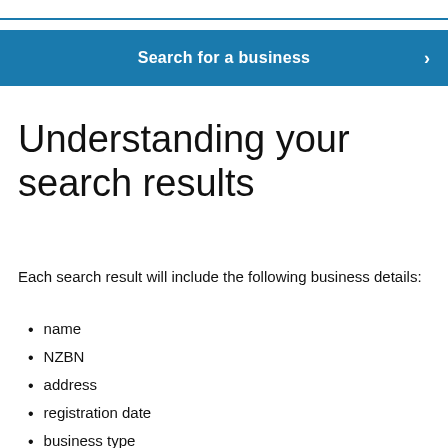[Figure (other): Blue horizontal top border line]
[Figure (other): Blue banner button with text 'Search for a business' and a right-pointing chevron arrow]
Understanding your search results
Each search result will include the following business details:
name
NZBN
address
registration date
business type
business status (partially visible)